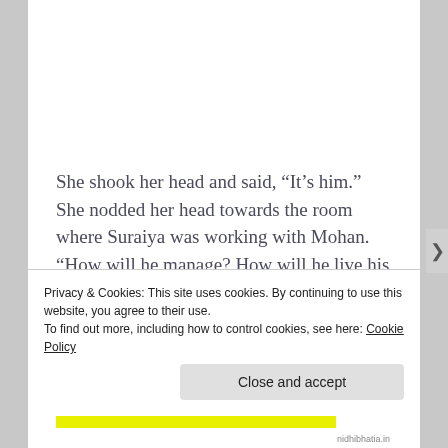She shook her head and said, “It’s him.” She nodded her head towards the room where Suraiya was working with Mohan. “How will he manage? How will he live his life? Will he always need this kind of therapy? What will happen to him when we
Privacy & Cookies: This site uses cookies. By continuing to use this website, you agree to their use.
To find out more, including how to control cookies, see here: Cookie Policy
Close and accept